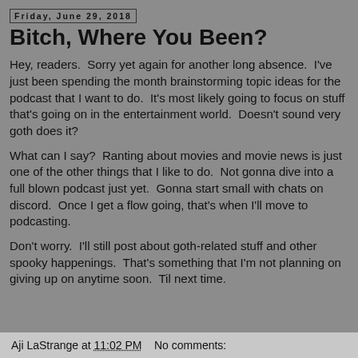Friday, June 29, 2018
Bitch, Where You Been?
Hey, readers.  Sorry yet again for another long absence.  I've just been spending the month brainstorming topic ideas for the podcast that I want to do.  It's most likely going to focus on stuff that's going on in the entertainment world.  Doesn't sound very goth does it?
What can I say?  Ranting about movies and movie news is just one of the other things that I like to do.  Not gonna dive into a full blown podcast just yet.  Gonna start small with chats on discord.  Once I get a flow going, that's when I'll move to podcasting.
Don't worry.  I'll still post about goth-related stuff and other spooky happenings.  That's something that I'm not planning on giving up on anytime soon.  Til next time.
Aji LaStrange at 11:02 PM    No comments: